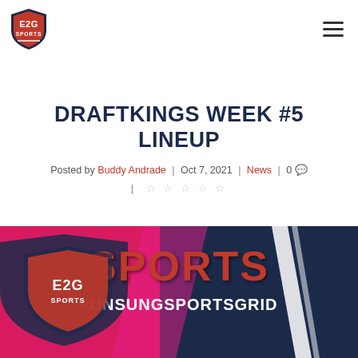[Figure (logo): E2G Sports logo — shield shape with 'E2G' text and 'SPORTS' text, red and navy blue colors]
DRAFTKINGS WEEK #5 LINEUP
Posted by Buddy Andrade | Oct 7, 2021 | News | 0
★★★★★ (5 empty stars)
[Figure (photo): E2G Sports branded image showing 'SPORTS #UNSUNGSPORTSGRID' text on a red and navy background]